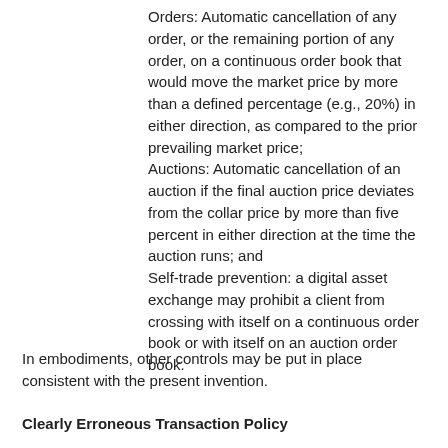Orders: Automatic cancellation of any order, or the remaining portion of any order, on a continuous order book that would move the market price by more than a defined percentage (e.g., 20%) in either direction, as compared to the prior prevailing market price;
Auctions: Automatic cancellation of an auction if the final auction price deviates from the collar price by more than five percent in either direction at the time the auction runs; and
Self-trade prevention: a digital asset exchange may prohibit a client from crossing with itself on a continuous order book or with itself on an auction order book.
In embodiments, other controls may be put in place consistent with the present invention.
Clearly Erroneous Transaction Policy